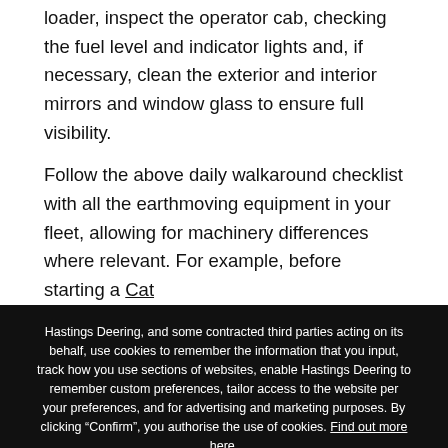loader, inspect the operator cab, checking the fuel level and indicator lights and, if necessary, clean the exterior and interior mirrors and window glass to ensure full visibility.
Follow the above daily walkaround checklist with all the earthmoving equipment in your fleet, allowing for machinery differences where relevant. For example, before starting a Cat
Hastings Deering, and some contracted third parties acting on its behalf, use cookies to remember the information that you input, track how you use sections of websites, enable Hastings Deering to remember custom preferences, tailor access to the website per your preferences, and for advertising and marketing purposes. By clicking “Confirm”, you authorise the use of cookies. Find out more here.
Confirm